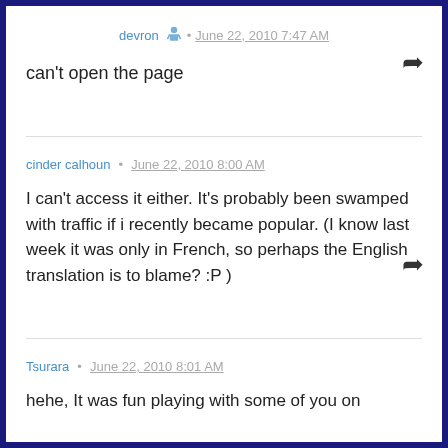devron • June 22, 2010 7:47 AM
can't open the page
cinder calhoun • June 22, 2010 8:00 AM
I can't access it either. It's probably been swamped with traffic if i recently became popular. (I know last week it was only in French, so perhaps the English translation is to blame? :P )
Tsurara • June 22, 2010 8:01 AM
hehe, It was fun playing with some of you on